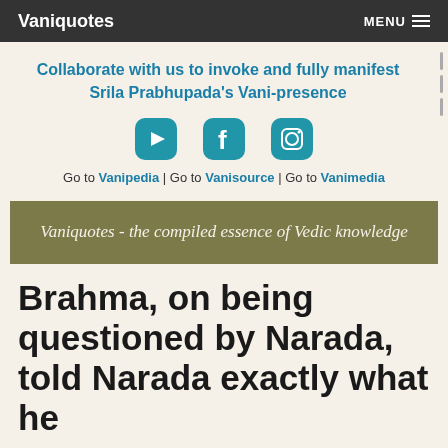Vaniquotes | MENU
Collaborate with us to invoke and fully manifest Srila Prabhupada's Vani-presence
[Figure (illustration): Three social media icons: YouTube, Facebook, Instagram]
Go to Vanipedia | Go to Vanisource | Go to Vanimedia
Vaniquotes - the compiled essence of Vedic knowledge
Brahma, on being questioned by Narada, told Narada exactly what he